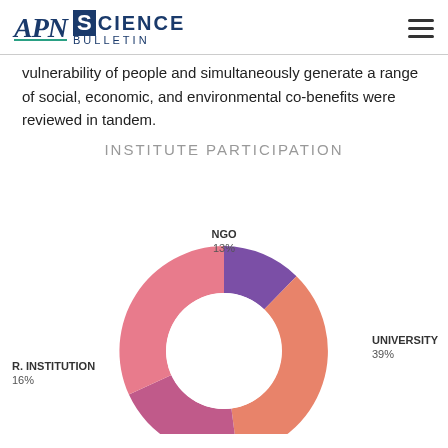APN Science Bulletin
vulnerability of people and simultaneously generate a range of social, economic, and environmental co-benefits were reviewed in tandem.
INSTITUTE PARTICIPATION
[Figure (donut-chart): INSTITUTE PARTICIPATION]